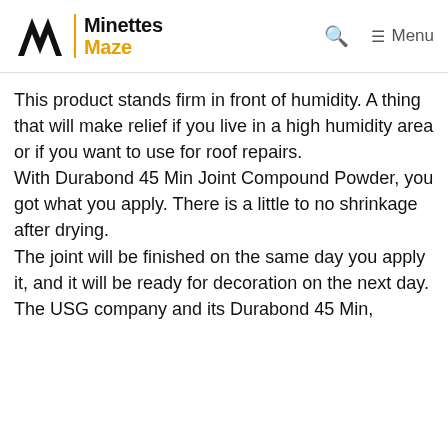Minettes Maze
This product stands firm in front of humidity. A thing that will make relief if you live in a high humidity area or if you want to use for roof repairs.
With Durabond 45 Min Joint Compound Powder, you got what you apply. There is a little to no shrinkage after drying.
The joint will be finished on the same day you apply it, and it will be ready for decoration on the next day.
The USG company and its Durabond 45 Min,